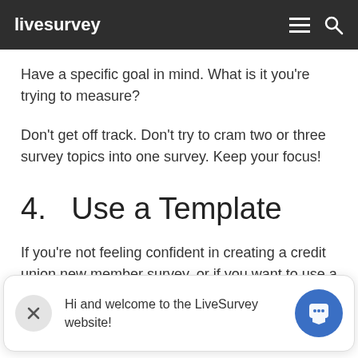livesurvey
Have a specific goal in mind. What is it you're trying to measure?
Don't get off track. Don't try to cram two or three survey topics into one survey. Keep your focus!
4. Use a Template
If you're not feeling confident in creating a credit union new member survey, or if you want to use a survey that has alre
tem
cre
Yo
[Figure (screenshot): Chat widget overlay with close X button and text 'Hi and welcome to the LiveSurvey website!' and a blue avatar icon]